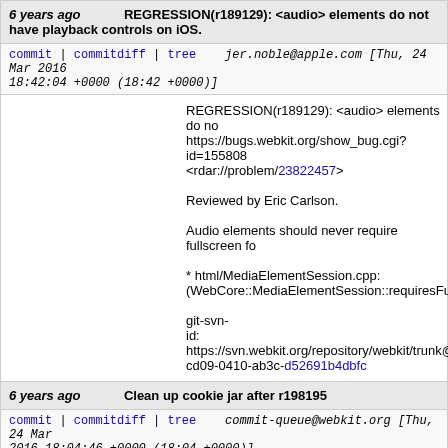6 years ago   REGRESSION(r189129): <audio> elements do not have playback controls on iOS.
commit | commitdiff | tree   jer.noble@apple.com [Thu, 24 Mar 2016 18:42:04 +0000 (18:42 +0000)]
REGRESSION(r189129): <audio> elements do not have playback controls on iOS.
https://bugs.webkit.org/show_bug.cgi?id=155808
<rdar://problem/23822457>

Reviewed by Eric Carlson.

Audio elements should never require fullscreen for

* html/MediaElementSession.cpp:
(WebCore::MediaElementSession::requiresFullsc

git-svn-id: https://svn.webkit.org/repository/webkit/trunk@
cd09-0410-ab3c-d52691b4dbfc
6 years ago   Clean up cookie jar after r198195
commit | commitdiff | tree   commit-queue@webkit.org [Thu, 24 Mar 2016 18:04:46 +0000 (18:04 +0000)]
Clean up cookie jar after r198195
https://bugs.webkit.org/show_bug.cgi?